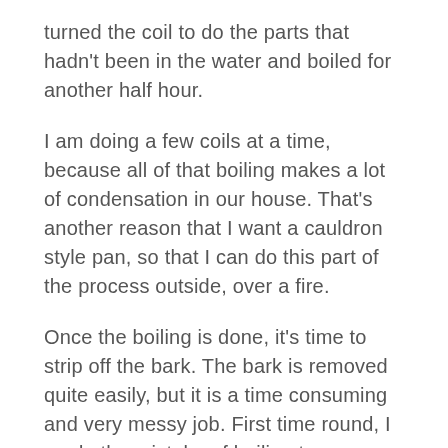turned the coil to do the parts that hadn't been in the water and boiled for another half hour.
I am doing a few coils at a time, because all of that boiling makes a lot of condensation in our house. That's another reason that I want a cauldron style pan, so that I can do this part of the process outside, over a fire.
Once the boiling is done, it's time to strip off the bark. The bark is removed quite easily, but it is a time consuming and very messy job. First time round, I made the mistake of boiling too many coils at once. By the time that I got to the last coils, they were beginning to dry out and then the bark is much harder to remove.